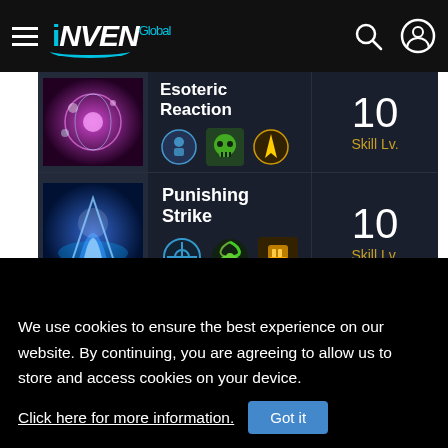INVEN Global
| Skill Image | Skill Name / Icons | Skill Lv. |
| --- | --- | --- |
| Esoteric Reaction image | Esoteric Reaction [icons] | 10 Skill Lv. |
| Punishing Strike image | Punishing Strike [icons] | 10 Skill Lv. |
| Reverse Gravity image | Reverse Gravity [icons] | 7 Skill Lv. |
| Seraphic Hail image | Seraphic Hail [icons] | 7 Skill Lv. |
We use cookies to ensure the best experience on our website. By continuing, you are agreeing to allow us to store and access cookies on your device.
Click here for more information.
Got it